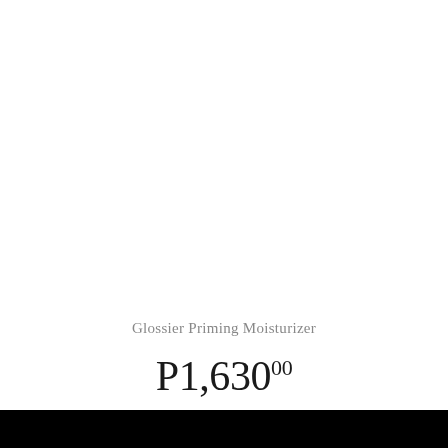Glossier Priming Moisturizer
P1,630.00